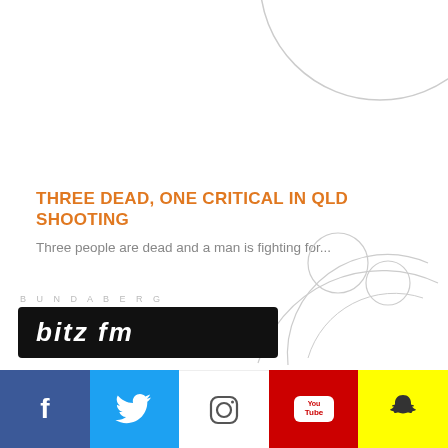[Figure (illustration): Partial circle outline at top right of page, light grey border, white fill]
THREE DEAD, ONE CRITICAL IN QLD SHOOTING
Three people are dead and a man is fighting for...
[Figure (illustration): Partial circle/logo outline at bottom right, light grey lines forming circular shape]
[Figure (logo): Bundaberg Bitz FM radio station logo — black rectangle with 'bitz fm' in white italic text, 'BUNDABERG' in small grey caps above]
Facebook Twitter Instagram YouTube Snapchat social media icons bar